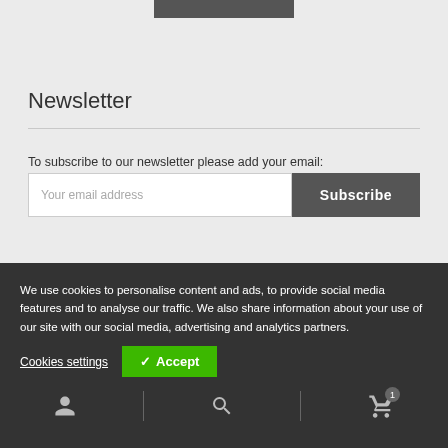[Figure (other): Dark grey top bar element at top center of page]
Newsletter
To subscribe to our newsletter please add your email:
[Figure (screenshot): Email input field with placeholder 'Your email address' and a dark grey Subscribe button]
New Products
We use cookies to personalise content and ads, to provide social media features and to analyse our traffic. We also share information about your use of our site with our social media, advertising and analytics partners.
Cookies settings
✓ Accept